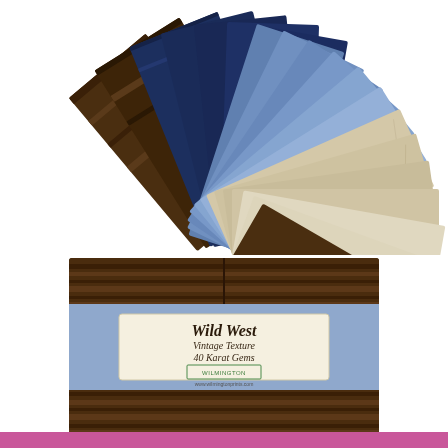[Figure (photo): Fan-spread display of fabric swatches in cream/tan, light blue, dark navy blue, and dark brown wood-grain textures arranged in a fan/arc shape.]
[Figure (photo): Product package for 'Wild West Vintage Texture 40 Karat Gems' by Wilmington Prints. The package shows dark brown wood-grain fabric panels with a light blue center band and a cream label displaying the product name and Wilmington Prints logo.]